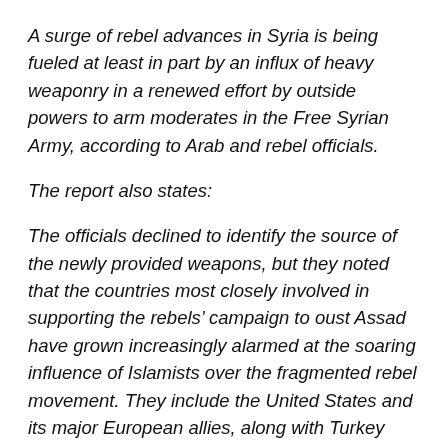A surge of rebel advances in Syria is being fueled at least in part by an influx of heavy weaponry in a renewed effort by outside powers to arm moderates in the Free Syrian Army, according to Arab and rebel officials.
The report also states:
The officials declined to identify the source of the newly provided weapons, but they noted that the countries most closely involved in supporting the rebels’ campaign to oust Assad have grown increasingly alarmed at the soaring influence of Islamists over the fragmented rebel movement. They include the United States and its major European allies, along with Turkey and the United Arab Emirates, and Saudi Arabia and Qatar, the two countries most directly involved in supplying the rebels.